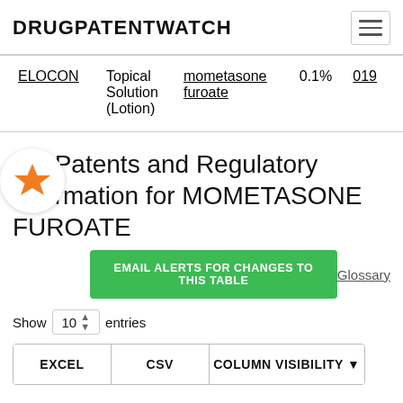DRUGPATENTWATCH
| Drug | Form | Ingredient | Strength | NDA |
| --- | --- | --- | --- | --- |
| ELOCON | Topical Solution (Lotion) | mometasone furoate | 0.1% | 019 |
US Patents and Regulatory Information for MOMETASONE FUROATE
EMAIL ALERTS FOR CHANGES TO THIS TABLE
Glossary
Show 10 entries
EXCEL   CSV   COLUMN VISIBILITY